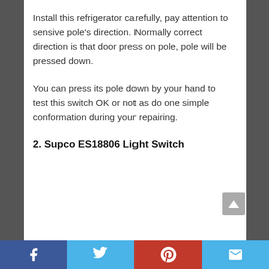Install this refrigerator carefully, pay attention to sensive pole’s direction. Normally correct direction is that door press on pole, pole will be pressed down.
You can press its pole down by your hand to test this switch OK or not as do one simple conformation during your repairing.
2. Supco ES18806 Light Switch
Facebook | Twitter | Pinterest | Email